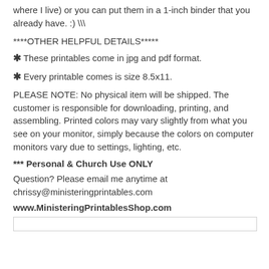where I live) or you can put them in a 1-inch binder that you already have. :) \\
****OTHER HELPFUL DETAILS*****
* These printables come in jpg and pdf format.
* Every printable comes is size 8.5x11.
PLEASE NOTE: No physical item will be shipped. The customer is responsible for downloading, printing, and assembling. Printed colors may vary slightly from what you see on your monitor, simply because the colors on computer monitors vary due to settings, lighting, etc.
*** Personal & Church Use ONLY
Question? Please email me anytime at chrissy@ministeringprintables.com
www.MinisteringPrintablesShop.com